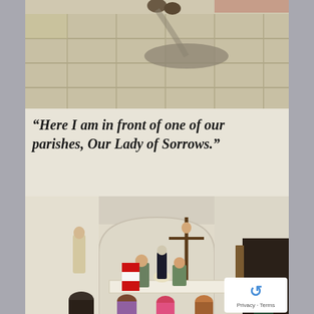[Figure (photo): Photo of stone pavement/plaza with a person's shadow visible, taken from above. The pavement consists of large stone tiles.]
“Here I am in front of one of our parishes, Our Lady of Sorrows.”
[Figure (photo): Interior of a Catholic church (Our Lady of Sorrows parish) showing the altar area with a crucifix, statues of saints, a Cuban flag, and congregation members seated and standing during Mass with a priest officiating.]